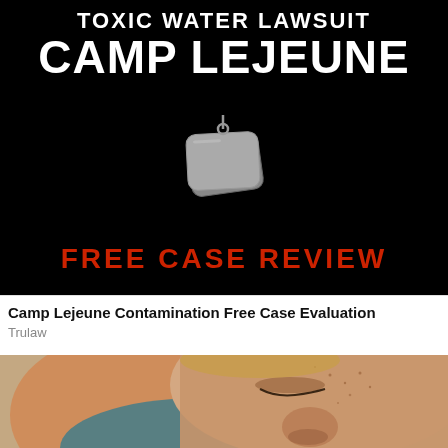[Figure (illustration): Black background advertisement banner for Camp Lejeune toxic water lawsuit. Top portion shows white bold text 'TOXIC WATER LAWSUIT' partially cut off at top, then large white bold text 'CAMP LEJEUNE', military dog tags graphic in center, and red bold text 'FREE CASE REVIEW' at bottom.]
Camp Lejeune Contamination Free Case Evaluation
Trulaw
[Figure (photo): Close-up photo of a woman with freckles and closed eyes, appearing distressed or ill. Blurred orange and teal background. Only the face and partial shoulder visible.]